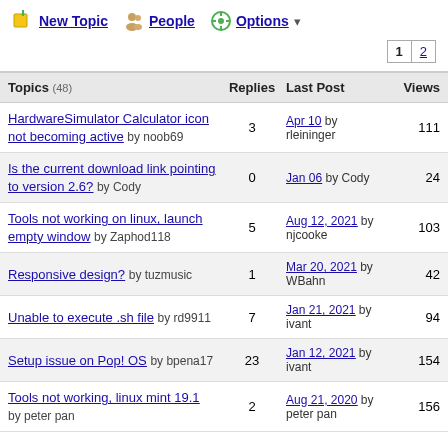New Topic  People  Options
1  2
| Topics (48) | Replies | Last Post | Views |
| --- | --- | --- | --- |
| HardwareSimulator Calculator icon not becoming active by noob69 | 3 | Apr 10 by rleininger | 111 |
| Is the current download link pointing to version 2.6? by Cody | 0 | Jan 06 by Cody | 24 |
| Tools not working on linux, launch empty window by Zaphod118 | 5 | Aug 12, 2021 by njcooke | 103 |
| Responsive design? by tuzmusic | 1 | Mar 20, 2021 by WBahn | 42 |
| Unable to execute .sh file by rd9911 | 7 | Jan 21, 2021 by ivant | 94 |
| Setup issue on Pop! OS by bpena17 | 23 | Jan 12, 2021 by ivant | 154 |
| Tools not working, linux mint 19.1 by peter pan | 2 | Aug 21, 2020 by peter pan | 156 |